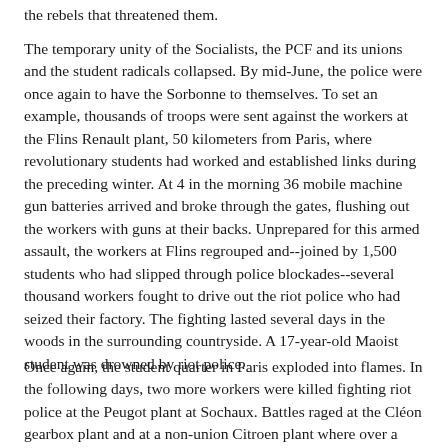the rebels that threatened them.
The temporary unity of the Socialists, the PCF and its unions and the student radicals collapsed. By mid-June, the police were once again to have the Sorbonne to themselves. To set an example, thousands of troops were sent against the workers at the Flins Renault plant, 50 kilometers from Paris, where revolutionary students had worked and established links during the preceding winter. At 4 in the morning 36 mobile machine gun batteries arrived and broke through the gates, flushing out the workers with guns at their backs. Unprepared for this armed assault, the workers at Flins regrouped and--joined by 1,500 students who had slipped through police blockades--several thousand workers fought to drive out the riot police who had seized their factory. The fighting lasted several days in the woods in the surrounding countryside. A 17-year-old Maoist student was drowned by riot police.
Once again, the student quarter in Paris exploded into flames. In the following days, two more workers were killed fighting riot police at the Peugot plant at Sochaux. Battles raged at the Cléon gearbox plant and at a non-union Citroen plant where over a third of the